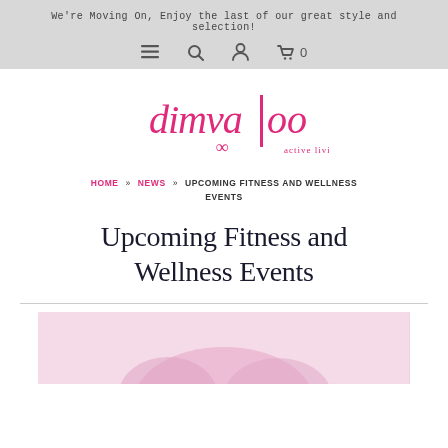We're Moving On, Enjoy the last of our great style and selection!
[Figure (logo): Dimvaloo active living logo in pink/magenta serif font with infinity symbol]
HOME » NEWS » UPCOMING FITNESS AND WELLNESS EVENTS
Upcoming Fitness and Wellness Events
[Figure (photo): Partial image of fitness/wellness related photo with pink tones]